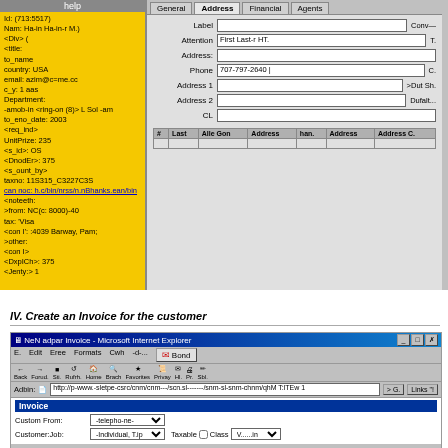[Figure (screenshot): Windows desktop screenshot showing a two-panel interface. Left panel with yellow background displays customer details text. Right panel shows a form with tabs (General, Address, Financial, Agents) and form fields including Label, Attention (First Last Name HT), Address, Phone (707-797-2640), Address 1, Address 2, CL. Bottom shows a data grid with columns for #, Last Name, Address, Home, Address, Address C.]
[Figure (screenshot): Windows taskbar with Start button, various icons, and taskbar buttons showing open applications.]
IV. Create an Invoice for the customer
[Figure (screenshot): Microsoft Internet Explorer window showing a NetAdmin Invoice page. Has IE toolbar with Back, Forward, Stop, Refresh, Home, Search, Favorites, History, Mail, Print, Edit buttons. Address bar shows a URL. Page content shows Invoice section with Customer From (telephone) and Customer:Job (Individual, Trip) fields, Taxable checkbox, and Class dropdown.]